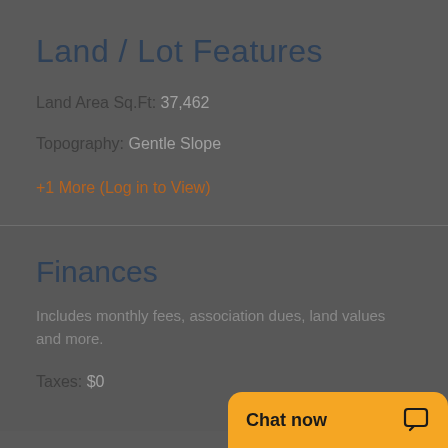Land / Lot Features
Land Area Sq.Ft: 37,462
Topography: Gentle Slope
+1 More (Log in to View)
Finances
Includes monthly fees, association dues, land values and more.
Taxes: $0